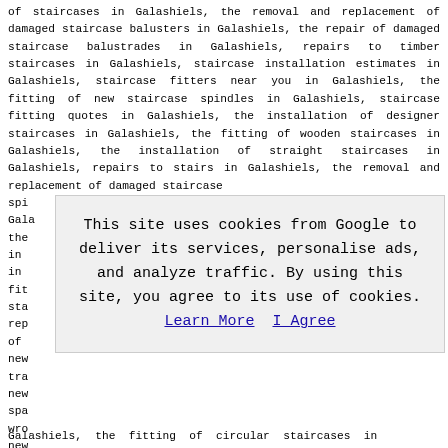of staircases in Galashiels, the removal and replacement of damaged staircase balusters in Galashiels, the repair of damaged staircase balustrades in Galashiels, repairs to timber staircases in Galashiels, staircase installation estimates in Galashiels, staircase fitters near you in Galashiels, the fitting of new staircase spindles in Galashiels, staircase fitting quotes in Galashiels, the installation of designer staircases in Galashiels, the fitting of wooden staircases in Galashiels, the installation of straight staircases in Galashiels, repairs to stairs in Galashiels, the removal and replacement of damaged staircase spi... Gala... the... in ... in ... fit... sta... rep... of ... new... tra... new... spa... wro... new...
This site uses cookies from Google to deliver its services, personalise ads, and analyze traffic. By using this site, you agree to its use of cookies. Learn More  I Agree
Galashiels, the fitting of circular staircases in